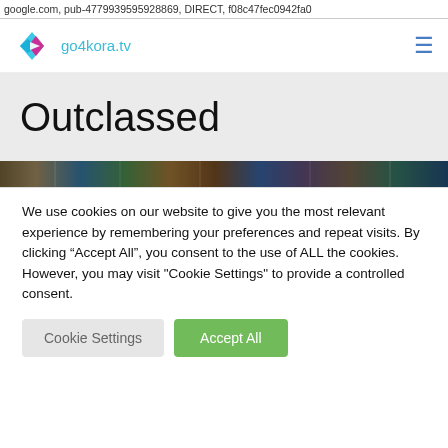google.com, pub-4779939595928869, DIRECT, f08c47fec0942fa0
[Figure (logo): go4kora.tv logo with diamond/arrow icon in cyan/pink and teal text]
Outclassed
[Figure (photo): Horizontal thumbnail strip showing a crowd/sports scene]
We use cookies on our website to give you the most relevant experience by remembering your preferences and repeat visits. By clicking “Accept All”, you consent to the use of ALL the cookies. However, you may visit "Cookie Settings" to provide a controlled consent.
Cookie Settings  Accept All